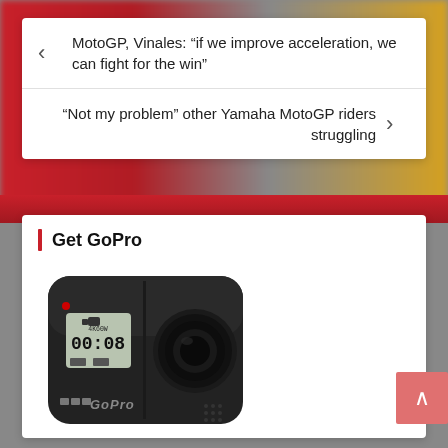MotoGP, Vinales: “if we improve acceleration, we can fight for the win”
“Not my problem” other Yamaha MotoGP riders struggling
Get GoPro
[Figure (photo): GoPro Hero8 Black camera showing front face with lens, small display showing 4K60W and 00:08, red LED indicator, and GoPro logo at bottom]
Make your Flow come alive! Get GoPro Hero8